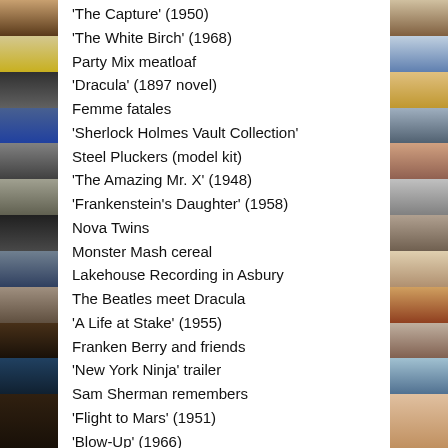'The Capture' (1950)
'The White Birch' (1968)
Party Mix meatloaf
'Dracula' (1897 novel)
Femme fatales
'Sherlock Holmes Vault Collection'
Steel Pluckers (model kit)
'The Amazing Mr. X' (1948)
'Frankenstein's Daughter' (1958)
Nova Twins
Monster Mash cereal
Lakehouse Recording in Asbury
The Beatles meet Dracula
'A Life at Stake' (1955)
Franken Berry and friends
'New York Ninja' trailer
Sam Sherman remembers
'Flight to Mars' (1951)
'Blow-Up' (1966)
Beach movies
'Monster Mash' in Burbank